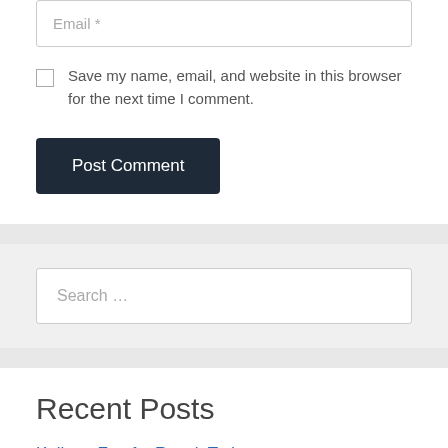Email *
Save my name, email, and website in this browser for the next time I comment.
Post Comment
Search …
Recent Posts
Kolkata Fatafat Result Today